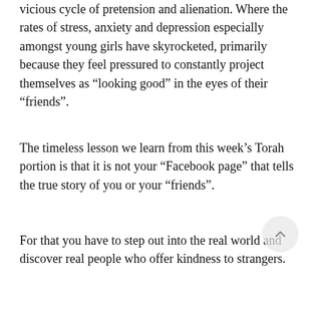vicious cycle of pretension and alienation. Where the rates of stress, anxiety and depression especially amongst young girls have skyrocketed, primarily because they feel pressured to constantly project themselves as “looking good” in the eyes of their “friends”.
The timeless lesson we learn from this week’s Torah portion is that it is not your “Facebook page” that tells the true story of you or your “friends”.
For that you have to step out into the real world and discover real people who offer kindness to strangers.